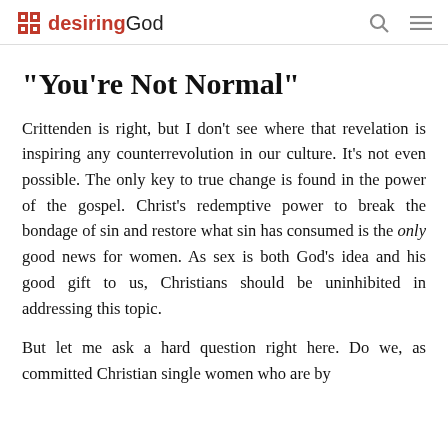desiringGod
“You’re Not Normal”
Crittenden is right, but I don’t see where that revelation is inspiring any counterrevolution in our culture. It’s not even possible. The only key to true change is found in the power of the gospel. Christ’s redemptive power to break the bondage of sin and restore what sin has consumed is the only good news for women. As sex is both God’s idea and his good gift to us, Christians should be uninhibited in addressing this topic.
But let me ask a hard question right here. Do we, as committed Christian single women who are by